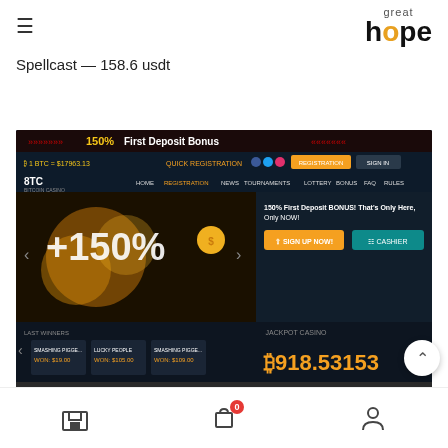≡  great hope
Spellcast — 158.6 usdt
[Figure (screenshot): Screenshot of BTC casino website showing 150% First Deposit Bonus, +150% bonus graphic with coins, SIGN UP NOW and CASHIER buttons, JACKPOT CASINO showing ₿918.53153, game category navigation bar (POPULAR, ENDORPHINA, NOVOMATIC, NETENT, IGROSOFT, OTHER, TABLE, DICE), and a search bar at bottom.]
store icon  cart(0) icon  user icon